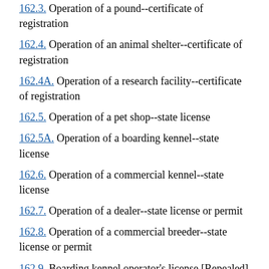162.3. Operation of a pound--certificate of registration
162.4. Operation of an animal shelter--certificate of registration
162.4A. Operation of a research facility--certificate of registration
162.5. Operation of a pet shop--state license
162.5A. Operation of a boarding kennel--state license
162.6. Operation of a commercial kennel--state license
162.7. Operation of a dealer--state license or permit
162.8. Operation of a commercial breeder--state license or permit
162.9. Boarding kennel operator's license [Repealed]
162.9A. Operation of a public auction--state license or